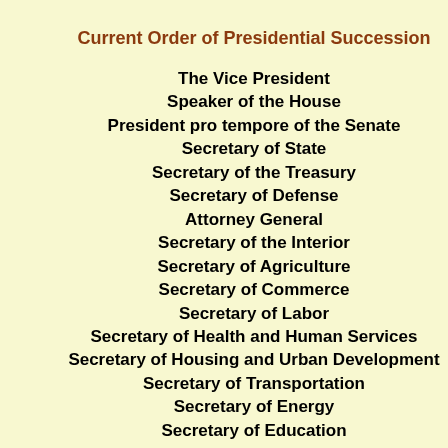Current Order of Presidential Succession
The Vice President
Speaker of the House
President pro tempore of the Senate
Secretary of State
Secretary of the Treasury
Secretary of Defense
Attorney General
Secretary of the Interior
Secretary of Agriculture
Secretary of Commerce
Secretary of Labor
Secretary of Health and Human Services
Secretary of Housing and Urban Development
Secretary of Transportation
Secretary of Energy
Secretary of Education